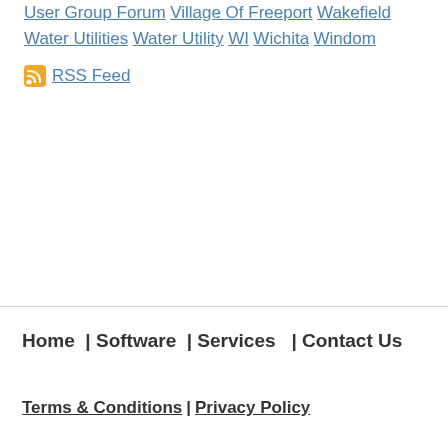User Group Forum
Village Of Freeport
Wakefield
Water Utilities
Water Utility
WI
Wichita
Windom
RSS Feed
Home | Software | Services | Contact Us
Terms & Conditions | Privacy Policy